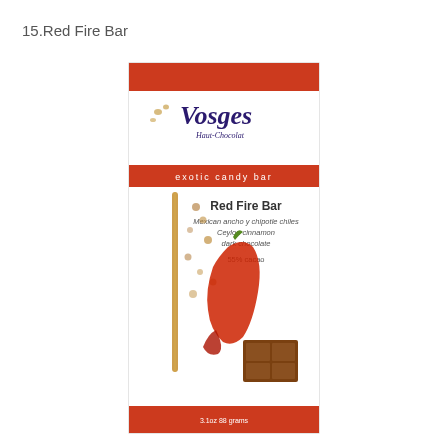15.Red Fire Bar
[Figure (photo): Vosges Haut-Chocolat Red Fire Bar exotic candy bar packaging. White box with red banner at top and bottom, featuring cinnamon stick, red chili peppers, and a chocolate square. Text reads: Red Fire Bar, Mexican ancho y chipotle chiles, Ceylon cinnamon, dark chocolate, 55% cacao, 3.1oz 88 grams.]